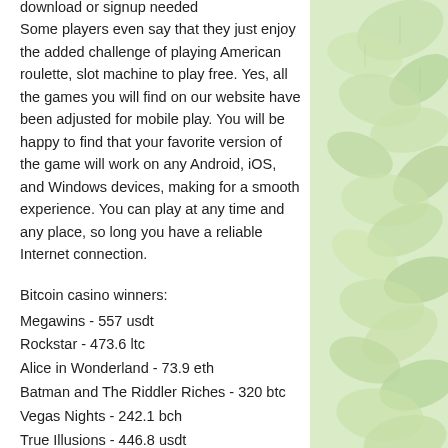download or signup needed Some players even say that they just enjoy the added challenge of playing American roulette, slot machine to play free. Yes, all the games you will find on our website have been adjusted for mobile play. You will be happy to find that your favorite version of the game will work on any Android, iOS, and Windows devices, making for a smooth experience. You can play at any time and any place, so long you have a reliable Internet connection.
Bitcoin casino winners: Megawins - 557 usdt Rockstar - 473.6 ltc Alice in Wonderland - 73.9 eth Batman and The Riddler Riches - 320 btc Vegas Nights - 242.1 bch True Illusions - 446.8 usdt Fruit Mania - 406.7 ltc Candy Dreams - 174.9 dog
[Figure (photo): Background photo of green leaves, partially visible on the right side of the page]